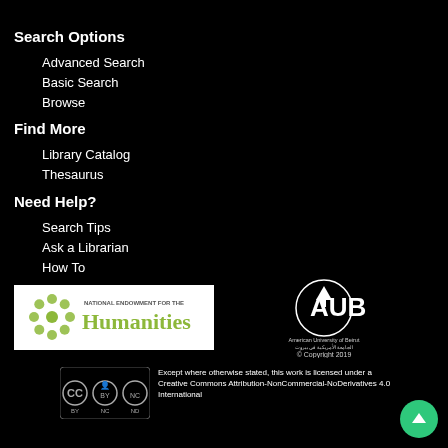Search Options
Advanced Search
Basic Search
Browse
Find More
Library Catalog
Thesaurus
Need Help?
Search Tips
Ask a Librarian
How To
[Figure (logo): National Endowment for the Humanities logo]
[Figure (logo): AUB American University of Beirut logo with © Copyright 2019]
[Figure (logo): Creative Commons BY NC ND license icons]
Except where otherwise stated, this work is licensed under a Creative Commons Attribution-NonCommercial-NoDerivatives 4.0 International